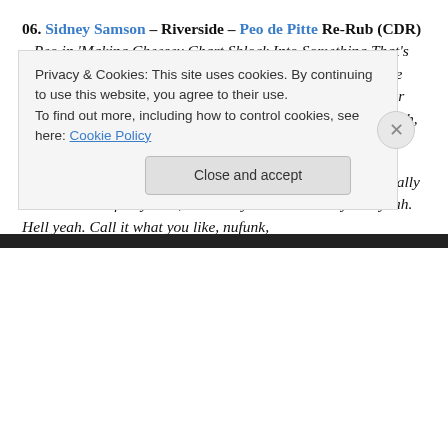06. Sidney Samson – Riverside – Peo de Pitte Re-Rub (CDR) – Peo in 'Making Cheesey Chart Shlock Into Something That's Rather Brilliant' shocker! I quite like the use of the Renegade Master samples too, but then I'm easily pleased. Available for free if you ask Peo nicely. You'd best flash him some leg though, cos he likes that sort of thing.
07. Debtonate – Party Packer (Funk Weapons) – If you really like to rock da funky beat, somebody in da house say hell yeah. Hell yeah. Call it what you like, nufunk,
Privacy & Cookies: This site uses cookies. By continuing to use this website, you agree to their use.
To find out more, including how to control cookies, see here: Cookie Policy